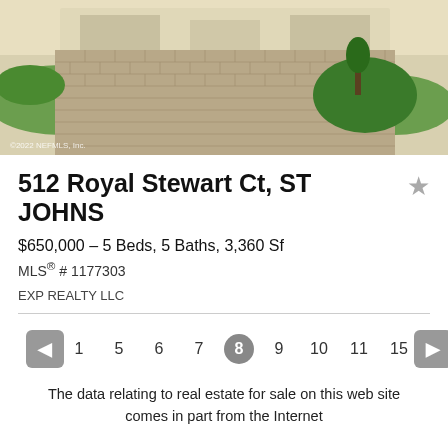[Figure (photo): Aerial/ground view of a paved brick driveway leading to a residential home with green lawn landscaping on both sides, trees and shrubs visible, Florida-style home in background. Watermark: ©2022 NEFMLS, Inc.]
512 Royal Stewart Ct, ST JOHNS
$650,000 - 5 Beds, 5 Baths, 3,360 Sf
MLS® # 1177303
EXP REALTY LLC
1  5  6  7  8  9  10  11  15
The data relating to real estate for sale on this web site comes in part from the Internet